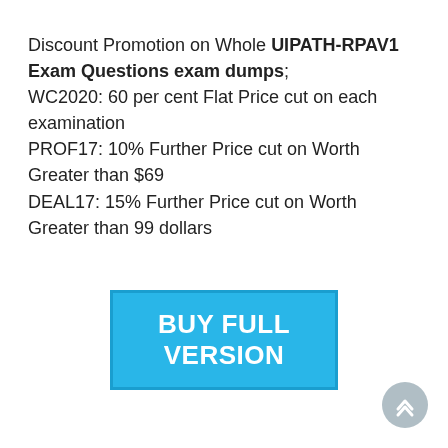Discount Promotion on Whole UIPATH-RPAV1 Exam Questions exam dumps; WC2020: 60 per cent Flat Price cut on each examination PROF17: 10% Further Price cut on Worth Greater than $69 DEAL17: 15% Further Price cut on Worth Greater than 99 dollars
[Figure (other): Blue button with white bold text reading BUY FULL VERSION]